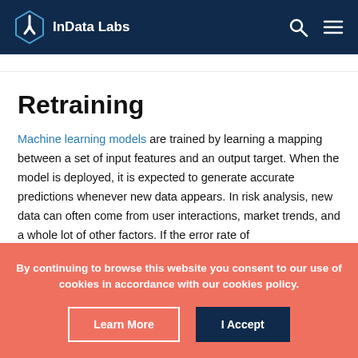InData Labs
Retraining
Machine learning models are trained by learning a mapping between a set of input features and an output target. When the model is deployed, it is expected to generate accurate predictions whenever new data appears. In risk analysis, new data can often come from user interactions, market trends, and a whole lot of other factors. If the error rate of
By continuing to browse this website you consent to our use of cookies in accordance with our cookies policy.
Learn More  I Accept